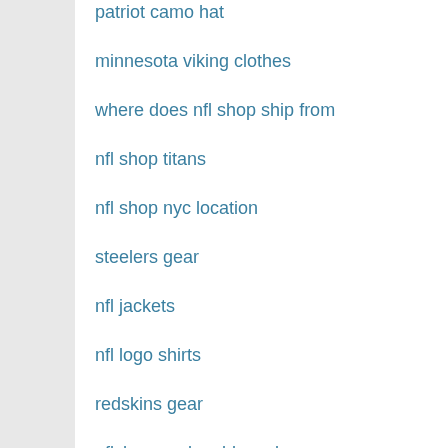patriot camo hat
minnesota viking clothes
where does nfl shop ship from
nfl shop titans
nfl shop nyc location
steelers gear
nfl jackets
nfl logo shirts
redskins gear
nflshop mcdonalds code
patriot beanie hats
nike nfl
jets shop